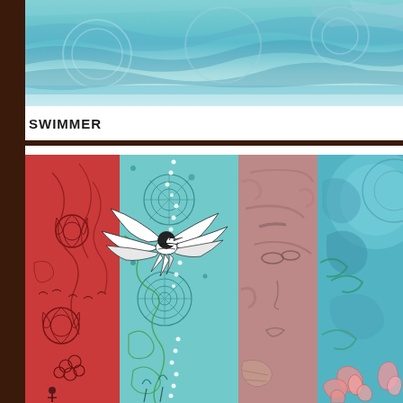[Figure (illustration): Watercolor/mixed media illustration at top of page showing abstract aqua/teal and blue tones with circular bubble shapes and layered textures suggesting water or swimming]
SWIMMER
[Figure (illustration): Large mixed media collage artwork showing four vertical panels side by side: left panel with red background and dark floral/vine drawings and small figures; second panel with teal/aqua background, circular mandala patterns, white dot trail, and a detailed black-and-white bird (magpie/chickadee) in flight; third panel with mauve/dusty rose background and figure face; fourth panel with teal background showing swirling painted elements and pink decorative motifs]